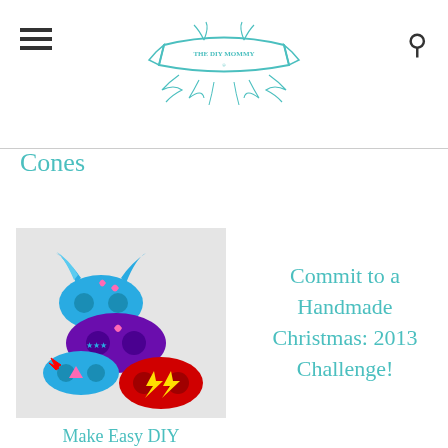THE DIY MOMMY
Cones
[Figure (photo): Three felt dress-up masks including a blue cat/bunny mask, a purple superhero mask with stars, and a red flash/lightning bolt mask, on a light background]
Make Easy DIY
Dress-Up Masks from Felt
Commit to a Handmade Christmas: 2013 Challenge!